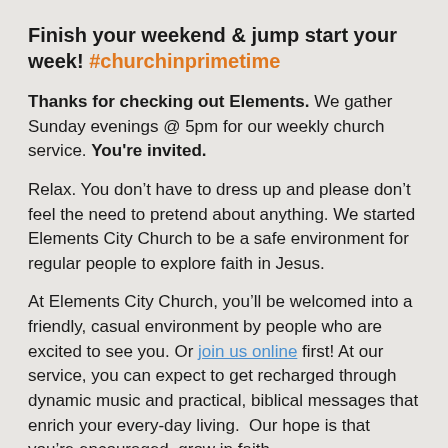Finish your weekend & jump start your week! #churchinprimetime
Thanks for checking out Elements. We gather Sunday evenings @ 5pm for our weekly church service. You're invited.
Relax. You don't have to dress up and please don't feel the need to pretend about anything. We started Elements City Church to be a safe environment for regular people to explore faith in Jesus.
At Elements City Church, you'll be welcomed into a friendly, casual environment by people who are excited to see you. Or join us online first! At our service, you can expect to get recharged through dynamic music and practical, biblical messages that enrich your every-day living.  Our hope is that you're encouraged, grow in faith and become all of who God created you to be.